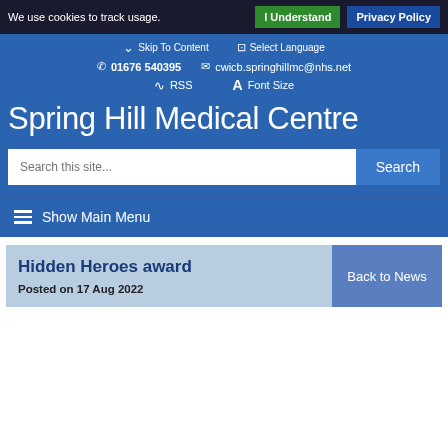We use cookies to track usage. I Understand | Privacy Policy
Skip To Content | Select Language | 01676 540395 | cwicb.springhillmc@nhs.net | RSS | Font Size
Spring Hill Medical Centre
Search this site... Search
Show Main Menu
Hidden Heroes award
Posted on 17 Aug 2022
Back to News